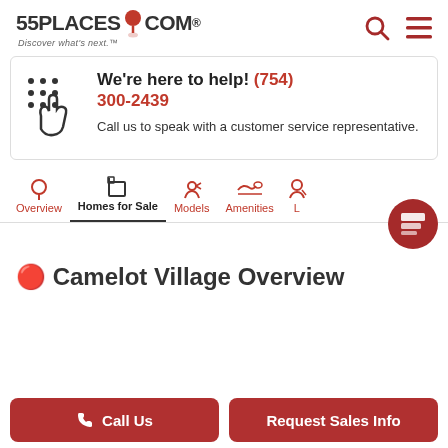55PLACES.COM — Discover what's next.
We're here to help! (754) 300-2439
Call us to speak with a customer service representative.
Overview | Homes for Sale | Models | Amenities | ...
Camelot Village Overview
Call Us | Request Sales Info